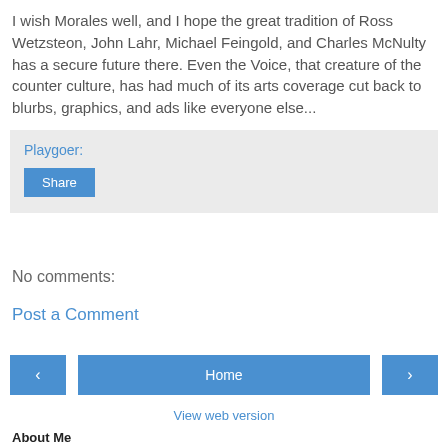I wish Morales well, and I hope the great tradition of Ross Wetzsteon, John Lahr, Michael Feingold, and Charles McNulty has a secure future there. Even the Voice, that creature of the counter culture, has had much of its arts coverage cut back to blurbs, graphics, and ads like everyone else...
Playgoer:
Share
No comments:
Post a Comment
‹
Home
›
View web version
About Me